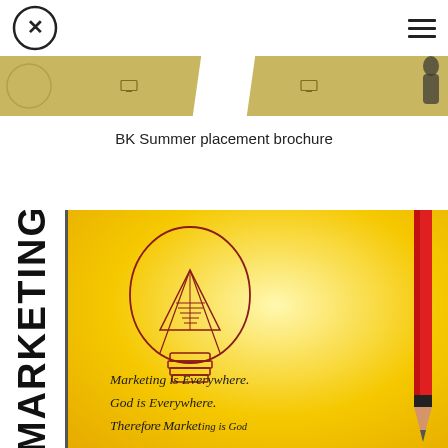BK Summer placement brochure
[Figure (illustration): Marketing brochure cover image showing a lightbulb drawing on yellow background with handwritten text 'Marketing is Everywhere. God is Everywhere. Therefore Marketing is God.' with a pencil illustration. The word MARKETING is displayed vertically on the left side in bold black text.]